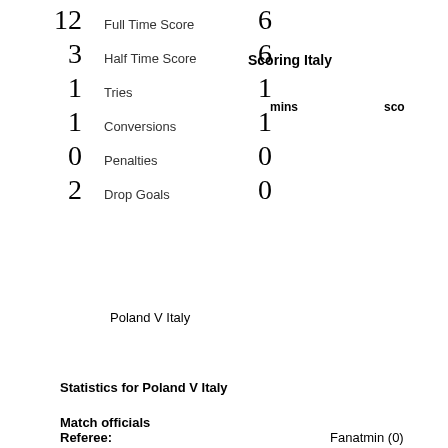| Left Score | Category | Right Score |
| --- | --- | --- |
| 12 | Full Time Score | 6 |
| 3 | Half Time Score | 6 |
| 1 | Tries | 1 |
| 1 | Conversions | 1 |
| 0 | Penalties | 0 |
| 2 | Drop Goals | 0 |
Scoring Italy
mins    sco
Poland V Italy
Statistics for Poland V Italy
Match officials
Referee:
Fanatmin (0)